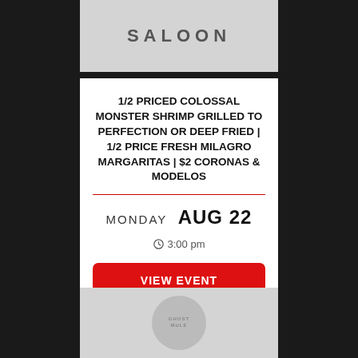[Figure (logo): Saloon logo on gray background]
1/2 PRICED COLOSSAL MONSTER SHRIMP GRILLED TO PERFECTION OR DEEP FRIED | 1/2 PRICE FRESH MILAGRO MARGARITAS | $2 CORONAS & MODELOS
MONDAY  AUG 22
3:00 pm
VIEW EVENT
[Figure (logo): Ghost Mule circular badge on gray background, partially visible at bottom]